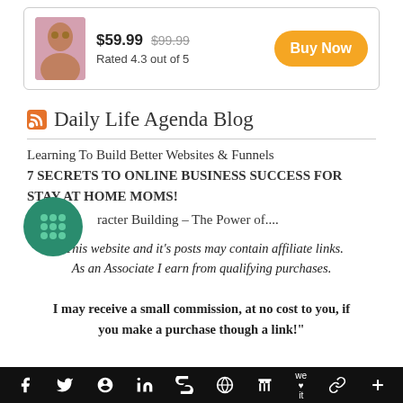[Figure (other): Product card with person photo, price $59.99 (was $99.99), rating 4.3 out of 5, and orange Buy Now button]
Daily Life Agenda Blog
Learning To Build Better Websites & Funnels
7 SECRETS TO ONLINE BUSINESS SUCCESS FOR STAY AT HOME MOMS!
Character Building – The Power of....
"This website and it's posts may contain affiliate links. As an Associate I earn from qualifying purchases.

I may receive a small commission, at no cost to you, if you make a purchase though a link!"
f  y  P  in  B  W  t  we it  %  +